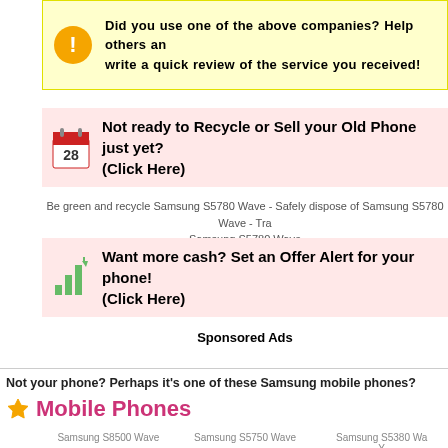Did you use one of the above companies? Help others and write a quick review of the service you received!
Not ready to Recycle or Sell your Old Phone just yet? (Click Here)
Be green and recycle Samsung S5780 Wave - Safely dispose of Samsung S5780 Wave - Tra Samsung S5780 Wave
Want more cash? Set an Offer Alert for your phone! (Click Here)
Sponsored Ads
Not your phone? Perhaps it's one of these Samsung mobile phones?
Mobile Phones
Samsung S8500 Wave
Samsung S5750 Wave
Samsung S5380 Wave Y